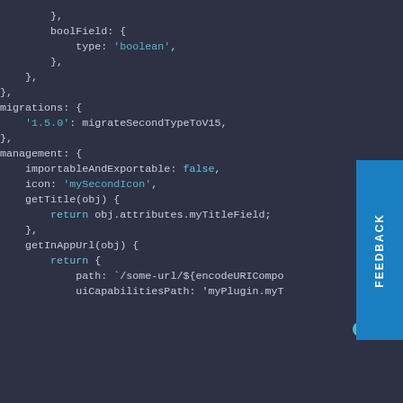[Figure (screenshot): Code editor screenshot showing JavaScript/JSON configuration object with fields: boolField with type boolean, migrations with '1.5.0' key mapped to migrateSecondTypeToV15, and management block with importableAndExportable false, icon 'mySecondIcon', getTitle function returning obj.attributes.myTitleField, and getInAppUrl function with return block containing path and uiCapabilitiesPath properties.]